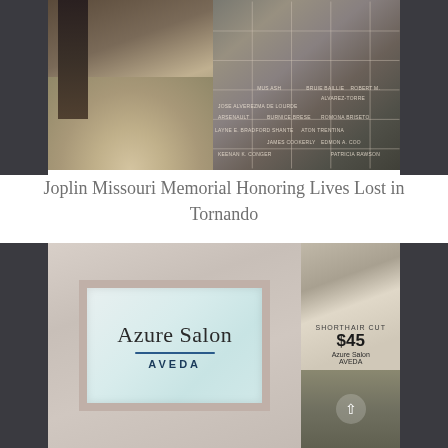[Figure (photo): Joplin Missouri Memorial with a grid-like transparent display showing names of tornado victims, placed among rocks and gravel outdoors in winter]
Joplin Missouri Memorial Honoring Lives Lost in Tornando
[Figure (photo): Interior of Azure Salon AVEDA - showing the salon sign with logo on a textured pink/mauve wall, and a window display with a short hair cut promotional poster showing $45 price]